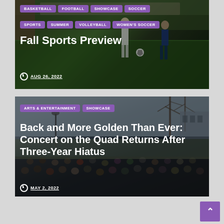[Figure (photo): Sports card with soccer/football action photo background showing players on a green field with spectators. Dark overlay with purple category tags and white title text.]
BASKETBALL
FOOTBALL
SHOWCASE
SOCCER
SPORTS
SUMMER
VOLLEYBALL
WOMEN'S SOCCER
Fall Sports Preview
AUG 26, 2022
[Figure (photo): Arts & Entertainment card with outdoor concert photo background showing a crowd gathered on a quad with bare trees and buildings. Dark overlay with purple category tags and white title text.]
ARTS & ENTERTAINMENT
SHOWCASE
Back and More Golden Than Ever: Concert on the Quad Returns After Three-Year Hiatus
MAY 2, 2022